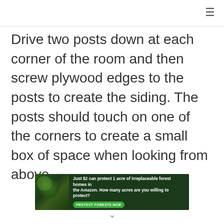☰
Drive two posts down at each corner of the room and then screw plywood edges to the posts to create the siding. The posts should touch on one of the corners to create a small box of space when looking from above.
[Figure (infographic): Advertisement banner with dark forest background and an orangutan image. Text reads: Just $2 can protect 1 acre of irreplaceable forest homes in the Amazon. How many acres are you willing to protect? With a green button labeled PROTECT FORESTS NOW.]